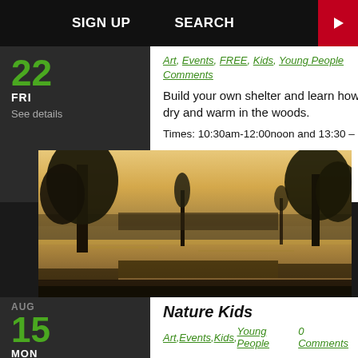SIGN UP   SEARCH
Art, Events, FREE, Kids, Young People   0 Comments
Build your own shelter and learn how to stay dry and warm in the woods.
Times: 10:30am-12:00noon and 13:30 – 15:00   read
[Figure (photo): Scenic nature photo of a lake or river at sunset/dusk with silhouetted trees reflected in calm water, warm golden/amber sky]
AUG 15 MON
Nature Kids
Art, Events, Kids, Young People   0 Comments